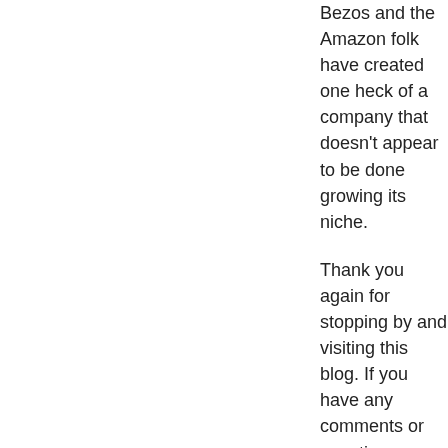Bezos and the Amazon folk have created one heck of a company that doesn't appear to be done growing its niche.
Thank you again for stopping by and visiting this blog. If you have any comments or questions, please feel free